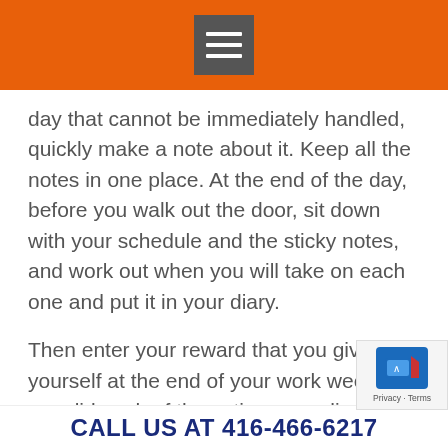day that cannot be immediately handled, quickly make a note about it. Keep all the notes in one place. At the end of the day, before you walk out the door, sit down with your schedule and the sticky notes, and work out when you will take on each one and put it in your diary.
Then enter your reward that you give yourself at the end of your work week IF you did each of the actions you diarized for that week.
No cheating either!
CALL US AT 416-466-6217